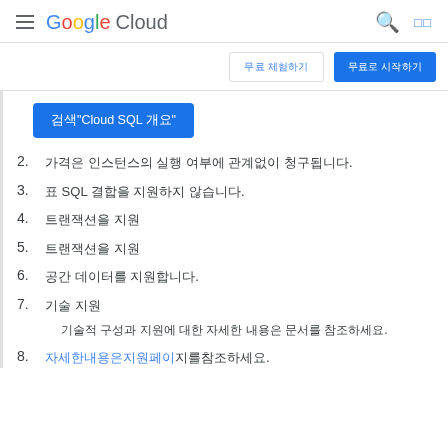Google Cloud
[Figure (screenshot): Google Cloud navigation bar with hamburger menu, Google Cloud logo, search icon, and square icon]
무료 체험하기 | 무료로 시작하기 (nav buttons)
검색"Cloud SQL 개요" (blue button)
2. 가격은 인스턴스의 실행 여부에 관계없이 청구됩니다.
3. 표 SQL 결합을 지원하지 않습니다.
4. 트랜잭션을 지원
5. 트랜잭션을 지원
6. 공간 데이터를 지원합니다.
7. 기술 지원
기술적 구성과 지원에 대한 자세한 내용은 문서를 참조하세요.
8. 자세한내용은지원페이지를참조하세요.